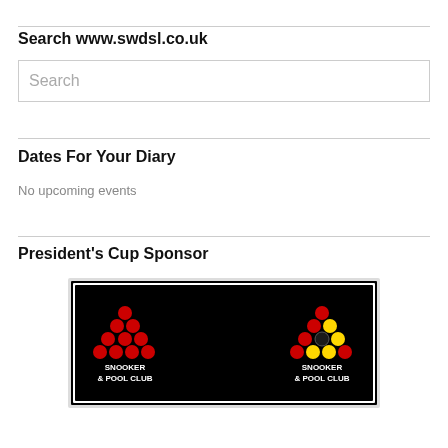Search www.swdsl.co.uk
Search
Dates For Your Diary
No upcoming events
President's Cup Sponsor
[Figure (logo): JP's Snooker & Pool Club logo banner showing two red and yellow snooker ball triangle racks on either side of bold 'JP's' text, with 'SNOOKER & POOL CLUB' text below each triangle, on a black and white background.]